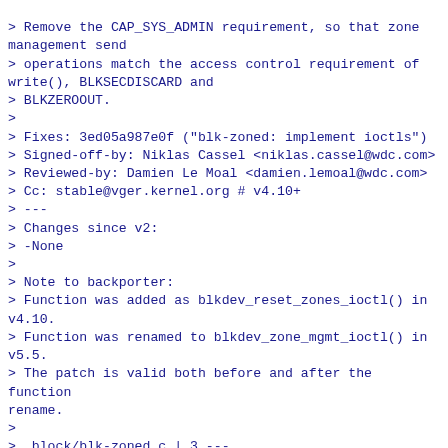> Remove the CAP_SYS_ADMIN requirement, so that zone management send
> operations match the access control requirement of write(), BLKSECDISCARD and
> BLKZEROOUT.
>
> Fixes: 3ed05a987e0f ("blk-zoned: implement ioctls")
> Signed-off-by: Niklas Cassel <niklas.cassel@wdc.com>
> Reviewed-by: Damien Le Moal <damien.lemoal@wdc.com>
> Cc: stable@vger.kernel.org # v4.10+
> ---
> Changes since v2:
> -None
>
> Note to backporter:
> Function was added as blkdev_reset_zones_ioctl() in v4.10.
> Function was renamed to blkdev_zone_mgmt_ioctl() in v5.5.
> The patch is valid both before and after the function rename.
>
>  block/blk-zoned.c | 3 ---
>  1 file changed, 3 deletions(-)
>
> diff --git a/block/blk-zoned.c b/block/blk-zoned.c index
> 250cb76ee615..0789e6e9f7db 100644
> --- a/block/blk-zoned.c
> +++ b/block/blk-zoned.c